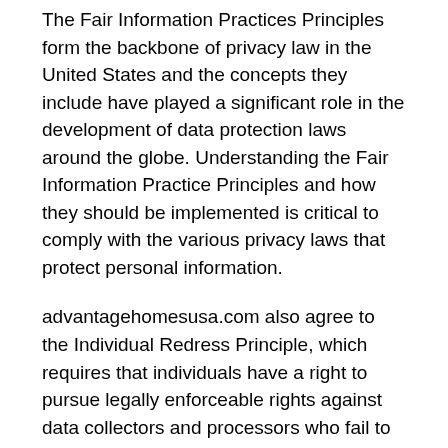The Fair Information Practices Principles form the backbone of privacy law in the United States and the concepts they include have played a significant role in the development of data protection laws around the globe. Understanding the Fair Information Practice Principles and how they should be implemented is critical to comply with the various privacy laws that protect personal information.
advantagehomesusa.com also agree to the Individual Redress Principle, which requires that individuals have a right to pursue legally enforceable rights against data collectors and processors who fail to adhere to the law.
CAN SPAM Act
The CAN-SPAM Act is a law that sets the rules for commercial email, establishes requirements for